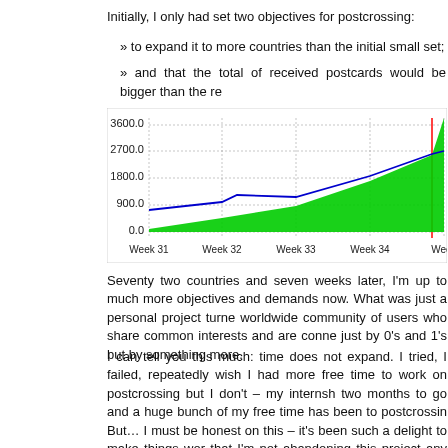Initially, I only had set two objectives for postcrossing:
» to expand it to more countries than the initial small set;
» and that the total of received postcards would be bigger than the registered users;
[Figure (area-chart): ]
Seventy two countries and seven weeks later, I'm up to much more objectives and demands now. What was just a personal project turned into a worldwide community of users who share common interests and are connected not just by 0's and 1's but by something more.
I can tell you this much: time does not expand. I tried, I failed, repeatedly. I wish I had more free time to work on postcrossing but I don't – my internship has two months to go and a huge bunch of my free time has been to postcrossing. But… I must be honest on this – it's been such a delight to make things work, that I'm not abandoning this project any time soon, that's for sure. I cuddled this for so long and now that it has born and is growing so damn well, I just ho... be it right to deny the right to freedom. Someone said little...